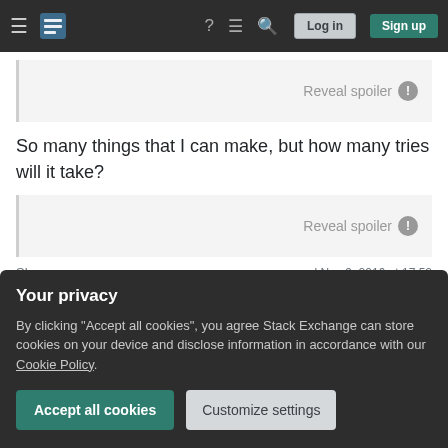Stack Exchange navigation bar with Log in and Sign up buttons
[Figure (other): Spoiler box with 'Reveal spoiler' label]
So many things that I can make, but how many tries will it take?
[Figure (other): Spoiler box with 'Reveal spoiler' label]
Share
answered Nov 9, 2016 at 17:52
Improve this answer
Allen F
Your privacy
By clicking "Accept all cookies", you agree Stack Exchange can store cookies on your device and disclose information in accordance with our Cookie Policy.